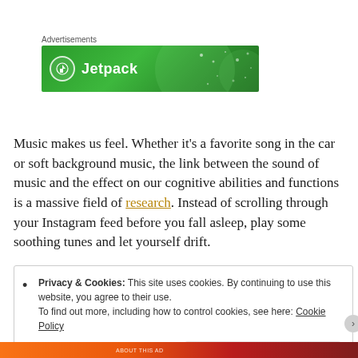[Figure (other): Jetpack advertisement banner with green gradient background and Jetpack logo and text]
Music makes us feel. Whether it's a favorite song in the car or soft background music, the link between the sound of music and the effect on our cognitive abilities and functions is a massive field of research. Instead of scrolling through your Instagram feed before you fall asleep, play some soothing tunes and let yourself drift.
Privacy & Cookies: This site uses cookies. By continuing to use this website, you agree to their use. To find out more, including how to control cookies, see here: Cookie Policy
Close and accept